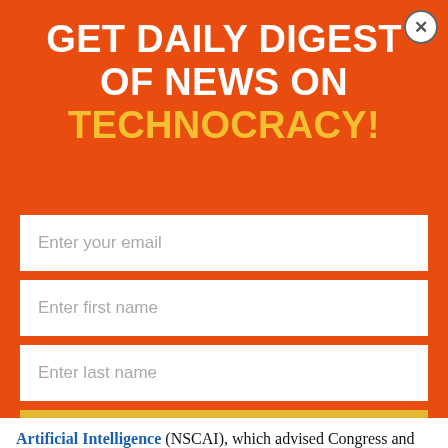GET DAILY DIGEST OF NEWS ON TECHNOCRACY!
[Figure (screenshot): Newsletter subscription form with fields for email, first name, last name, and a Subscribe button on an orange background]
Artificial Intelligence (NSCAI), which advised Congress and the White House on ways AI could be used to address U.S. defense needs. That work appears to have set the stage for the creation of AFF.
In late 2021, on the road appears and divine and